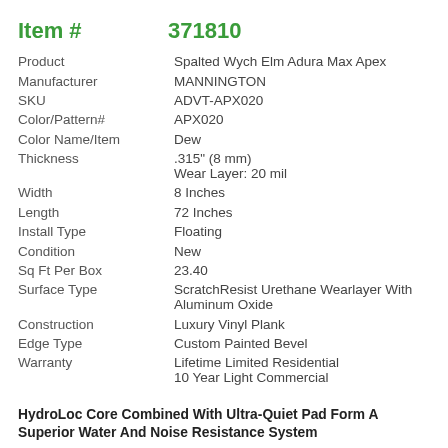| Field | Value |
| --- | --- |
| Item # | 371810 |
| Product | Spalted Wych Elm Adura Max Apex |
| Manufacturer | MANNINGTON |
| SKU | ADVT-APX020 |
| Color/Pattern# | APX020 |
| Color Name/Item | Dew |
| Thickness | .315" (8 mm)
Wear Layer: 20 mil |
| Width | 8 Inches |
| Length | 72 Inches |
| Install Type | Floating |
| Condition | New |
| Sq Ft Per Box | 23.40 |
| Surface Type | ScratchResist Urethane Wearlayer With Aluminum Oxide |
| Construction | Luxury Vinyl Plank |
| Edge Type | Custom Painted Bevel |
| Warranty | Lifetime Limited Residential
10 Year Light Commercial |
HydroLoc Core Combined With Ultra-Quiet Pad Form A Superior Water And Noise Resistance System